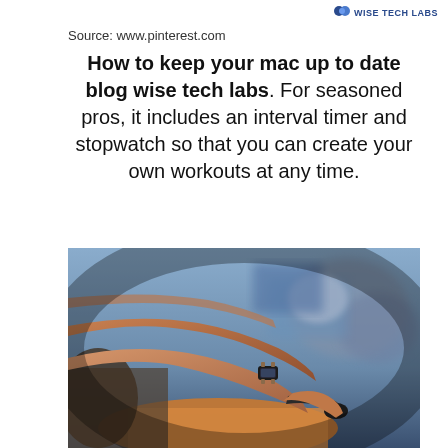WISE TECH LABS
Source: www.pinterest.com
How to keep your mac up to date blog wise tech labs. For seasoned pros, it includes an interval timer and stopwatch so that you can create your own workouts at any time.
[Figure (photo): People on rowing or cycling exercise machines in a gym, with one person prominently showing a smartwatch on their wrist gripping the handle.]